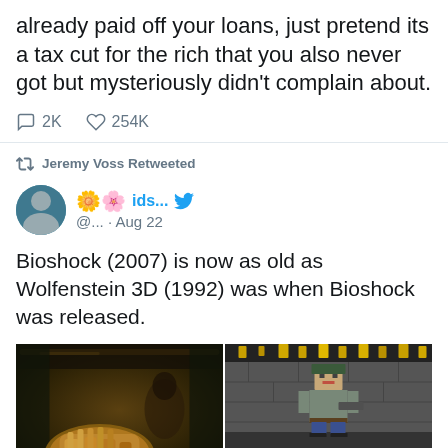already paid off your loans, just pretend its a tax cut for the rich that you also never got but mysteriously didn't complain about.
2K  254K
Jeremy Voss Retweeted
🌼🌸 ids... @... · Aug 22
Bioshock (2007) is now as old as Wolfenstein 3D (1992) was when Bioshock was released.
[Figure (photo): Two side-by-side game screenshots: left shows Bioshock (2007) first-person view with golden robotic hand and dark underwater environment; right shows Wolfenstein 3D (1992) with pixel-art soldier character and LIVES/HEALTH/AMMO HUD at bottom]